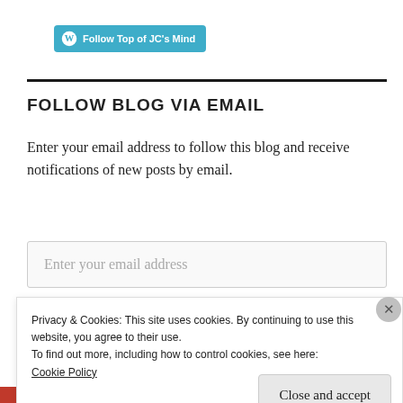[Figure (logo): WordPress Follow button with 'Follow Top of JC's Mind' text on cyan/teal background]
FOLLOW BLOG VIA EMAIL
Enter your email address to follow this blog and receive notifications of new posts by email.
Enter your email address
Privacy & Cookies: This site uses cookies. By continuing to use this website, you agree to their use.
To find out more, including how to control cookies, see here:
Cookie Policy
Close and accept